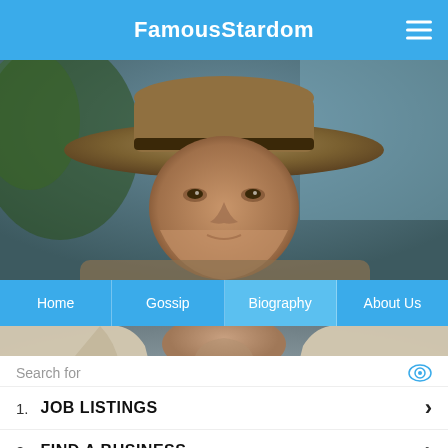FamousStardom
[Figure (photo): Close-up of a man wearing a wide-brimmed fedora hat, outdoors, blurred background]
Home  Gossip  Biography  About Us
[Figure (photo): Man in torn sleeveless shirt with a shoulder strap, action/adventure character pose]
Search for
1.  JOB LISTINGS
2.  FIND A BUSINESS